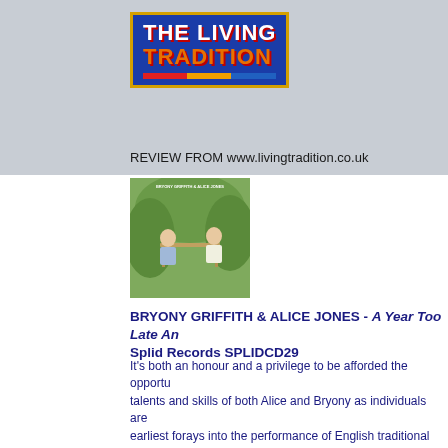[Figure (logo): The Living Tradition magazine logo — blue background with orange and white bold text, decorative tri-color stripe at bottom]
REVIEW FROM www.livingtradition.co.uk
[Figure (photo): Album cover for Bryony Griffith & Alice Jones – A Year Too Late And A Dollar Short, showing two women at an outdoor table in a meadow]
BRYONY GRIFFITH & ALICE JONES - A Year Too Late An... Splid Records SPLIDCD29
It's both an honour and a privilege to be afforded the opportu... talents and skills of both Alice and Bryony as individuals are... earliest forays into the performance of English traditional son... Bryony, of course, with her involvement with The Witches Of... and Alice for her step-dance work with Ryburn3Step over ma... piano in Pete Coe's The Black Box Band, and more recently... Pete Coe on the highly acclaimed CD, The Search For Five... collecting work of Frank Kidson – if you didn't already know)
So, having followed, closely, both of their individual careers o... youthful, fresh-faced appearance might suggest and the clos... locations, my only question is: What took them so long? This... together (a match made in heaven, I venture) and I, for one,... should have been doing it… but, now they have, I'm ecstatic